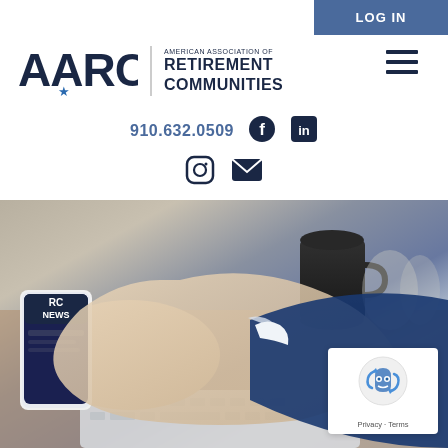LOG IN
[Figure (logo): AARC logo with star, vertical divider, and text 'AMERICAN ASSOCIATION OF RETIREMENT COMMUNITIES']
910.632.0509
[Figure (infographic): Facebook, LinkedIn, Instagram, and email social media icons in dark navy blue]
[Figure (photo): A businessman in a blue suit using a smartphone and laptop, with a coffee mug in the background. The phone shows a news app with 'RC NEWS' text.]
[Figure (other): reCAPTCHA badge with robot icon and 'Privacy - Terms' text]